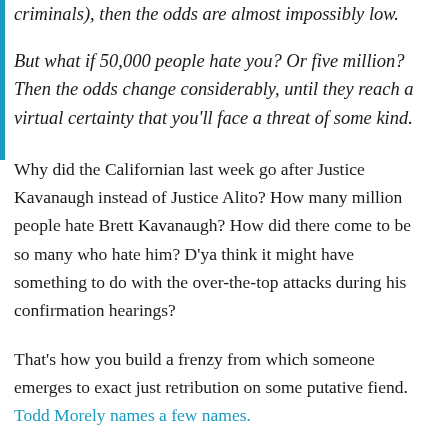criminals), then the odds are almost impossibly low.
But what if 50,000 people hate you? Or five million? Then the odds change considerably, until they reach a virtual certainty that you'll face a threat of some kind.
Why did the Californian last week go after Justice Kavanaugh instead of Justice Alito? How many million people hate Brett Kavanaugh? How did there come to be so many who hate him? D'ya think it might have something to do with the over-the-top attacks during his confirmation hearings?
That's how you build a frenzy from which someone emerges to exact just retribution on some putative fiend. Todd Morely names a few names.